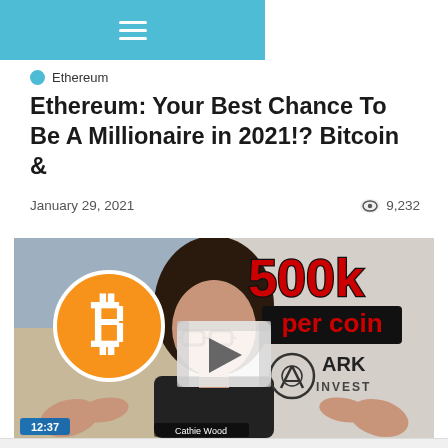☰ (hamburger menu / navigation bar)
● Ethereum
Ethereum: Your Best Chance To Be A Millionaire in 2021!? Bitcoin &
January 29, 2021      👁 9,232
[Figure (screenshot): Video thumbnail showing a woman (Cathie Wood) speaking, with a Bitcoin logo on the left, text '500k per coin' in large red letters on the right, and ARK INVEST logo. Timestamp 12:37 shown in bottom-left corner.]